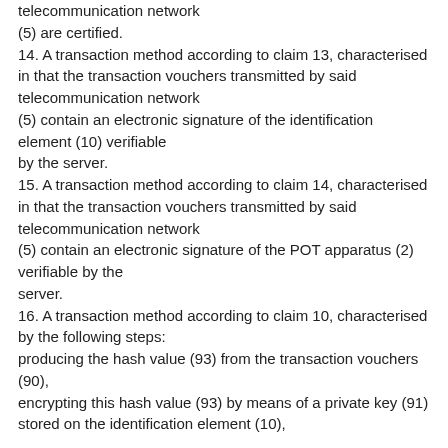telecommunication network
(5) are certified.
14. A transaction method according to claim 13, characterised in that the transaction vouchers transmitted by said telecommunication network (5) contain an electronic signature of the identification element (10) verifiable by the server.
15. A transaction method according to claim 14, characterised in that the transaction vouchers transmitted by said telecommunication network (5) contain an electronic signature of the POT apparatus (2) verifiable by the server.
16. A transaction method according to claim 10, characterised by the following steps: producing the hash value (93) from the transaction vouchers (90), encrypting this hash value (93) by means of a private key (91) stored on the identification element (10),